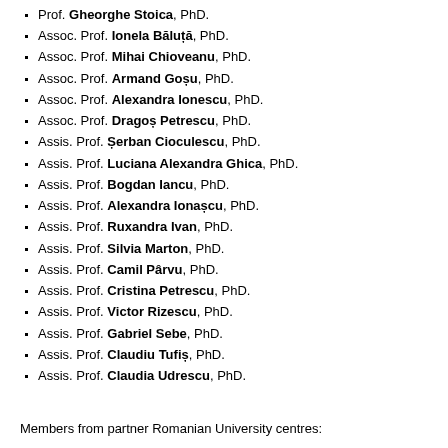Prof. Gheorghe Stoica, PhD.
Assoc. Prof. Ionela Băluță, PhD.
Assoc. Prof. Mihai Chioveanu, PhD.
Assoc. Prof. Armand Goșu, PhD.
Assoc. Prof. Alexandra Ionescu, PhD.
Assoc. Prof. Dragoș Petrescu, PhD.
Assis. Prof. Șerban Cioculescu, PhD.
Assis. Prof. Luciana Alexandra Ghica, PhD.
Assis. Prof. Bogdan Iancu, PhD.
Assis. Prof. Alexandra Ionașcu, PhD.
Assis. Prof. Ruxandra Ivan, PhD.
Assis. Prof. Silvia Marton, PhD.
Assis. Prof. Camil Pârvu, PhD.
Assis. Prof. Cristina Petrescu, PhD.
Assis. Prof. Victor Rizescu, PhD.
Assis. Prof. Gabriel Sebe, PhD.
Assis. Prof. Claudiu Tufiș, PhD.
Assis. Prof. Claudia Udrescu, PhD.
Members from partner Romanian University centres: